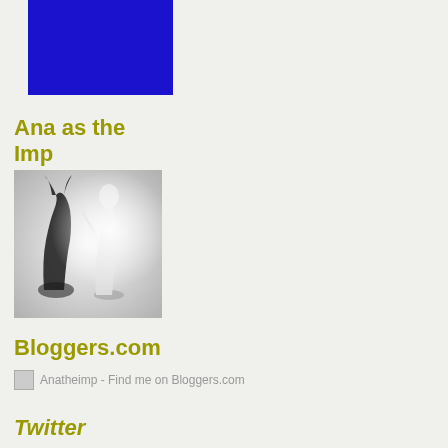[Figure (illustration): Solid dark blue rectangle, used as a decorative/banner element at the top left of the page.]
Ana as the Imp
[Figure (photo): Black and white artistic photo showing a figure posing with arms raised, and a dark shadow silhouette beside them suggesting an imp or devil shape.]
Bloggers.com
[Figure (logo): Small image placeholder for Anatheimp Bloggers.com badge with alt text: Anatheimp - Find me on Bloggers.com]
Anatheimp - Find me on Bloggers.com
Twitter